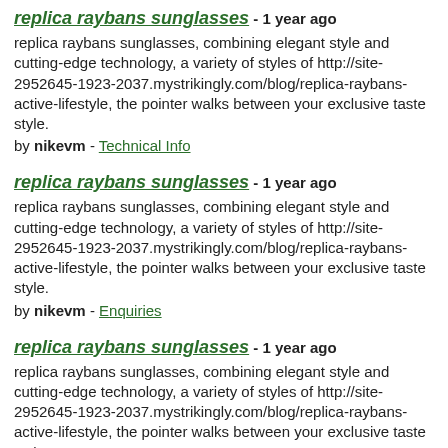replica raybans sunglasses - 1 year ago
replica raybans sunglasses, combining elegant style and cutting-edge technology, a variety of styles of http://site-2952645-1923-2037.mystrikingly.com/blog/replica-raybans-active-lifestyle, the pointer walks between your exclusive taste style.
by nikevm - Technical Info
replica raybans sunglasses - 1 year ago
replica raybans sunglasses, combining elegant style and cutting-edge technology, a variety of styles of http://site-2952645-1923-2037.mystrikingly.com/blog/replica-raybans-active-lifestyle, the pointer walks between your exclusive taste style.
by nikevm - Enquiries
replica raybans sunglasses - 1 year ago
replica raybans sunglasses, combining elegant style and cutting-edge technology, a variety of styles of http://site-2952645-1923-2037.mystrikingly.com/blog/replica-raybans-active-lifestyle, the pointer walks between your exclusive taste style.
by nikevm - Announcements
goedkope voetbal truien verkoop - 1 year ago
goedkope voetbal truien verkoop, een combinatie van elegante stijl en geavanceerde technologie, een verscheidenheid aan stijlen van https://voetbalvbvd.jouwweb.nl, de wijzer loopt tussen uw exclusieve smaakstijlen.